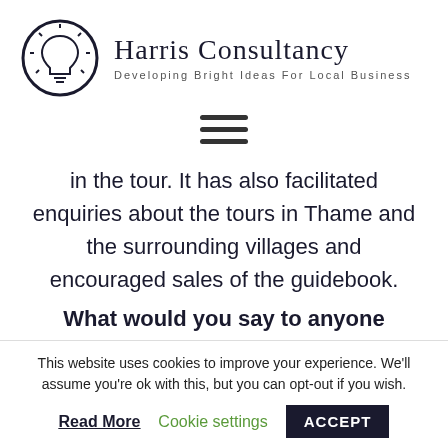[Figure (logo): Harris Consultancy logo with lightbulb icon in circle and text 'Harris Consultancy / Developing Bright Ideas For Local Business']
[Figure (other): Hamburger menu icon (three horizontal lines)]
in the tour. It has also facilitated enquiries about the tours in Thame and the surrounding villages and encouraged sales of the guidebook.
What would you say to anyone
This website uses cookies to improve your experience. We'll assume you're ok with this, but you can opt-out if you wish.
Read More   Cookie settings   ACCEPT